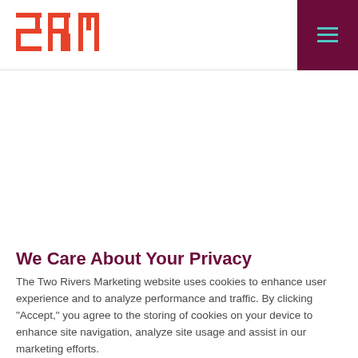2RM logo and navigation menu
We Care About Your Privacy
The Two Rivers Marketing website uses cookies to enhance user experience and to analyze performance and traffic. By clicking "Accept," you agree to the storing of cookies on your device to enhance site navigation, analyze site usage and assist in our marketing efforts.